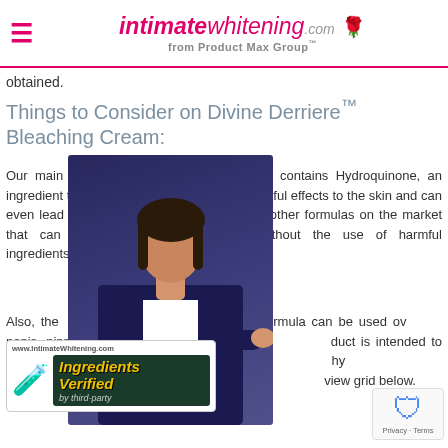intimatewhitening.com from Product Max Group™
obtained.
Things to Consider on Divine Derriere™ Bleaching Cream:
Our main issue with his formula is that it contains Hydroquinone, an ingredient that has been shown to cause harmful effects to the skin and can even lead to skin cancer. There are several other formulas on the market that can achieve a whitening effect without the use of harmful ingredients. See options below.
Also, the website does not claim that this formula can be used over the penis, nipples, vagina. scrotum or underarms. The product is intended to lighten the look of age spots, fine lines, wrinkles, and hyperpigmentation. You can find intimate area creams and serums in the review grid below.
[Figure (photo): Woman in business attire with ingredients verified badge overlay]
[Figure (logo): reCAPTCHA badge with Privacy and Terms links]